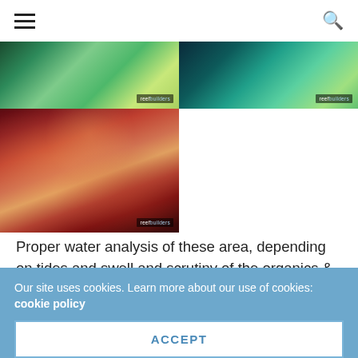navigation menu and search icons
[Figure (photo): Top-left coral photo showing green and teal colored coral under reef lighting with reef builders watermark]
[Figure (photo): Top-right coral photo showing teal and green coral forest under blue lighting with reef builders watermark]
[Figure (photo): Large coral photo on lower-left showing pink and orange-red coral branches (Acropora) in close-up with reef builders watermark]
Proper water analysis of these area, depending on tides and swell and scrutiny of the organics & carbon in the water would probably help us in understanding the real needs of these beautiful corals.
Our site uses cookies. Learn more about our use of cookies: cookie policy
ACCEPT